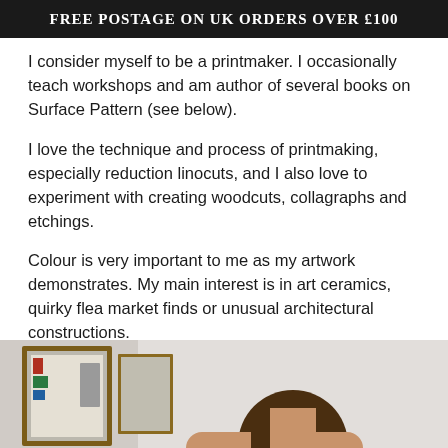Free postage on UK orders over £100
I consider myself to be a printmaker. I occasionally teach workshops and am author of several books on Surface Pattern (see below).
I love the technique and process of printmaking, especially reduction linocuts, and I also love to experiment with creating woodcuts, collagraphs and etchings.
Colour is very important to me as my artwork demonstrates. My main interest is in art ceramics, quirky flea market finds or unusual architectural constructions.
[Figure (photo): Partial photo showing a framed artwork on a wall on the left side and a person (partially visible, showing hair and shoulders) on the right side against a light wall background.]